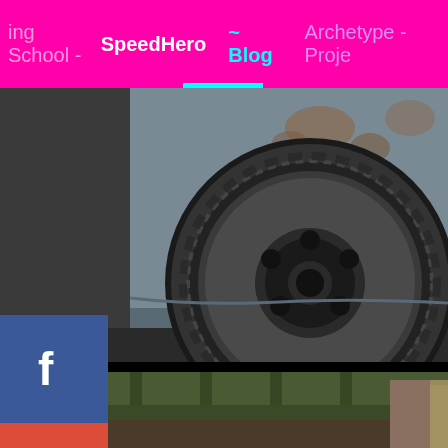ing School - SpeedHero  ~ Blog  Archetype - Proje
[Figure (photo): Close-up photo of a car wheel/tire on a vehicle with exposed metal bodywork, showing rust and bare metal finish. Social media icons (Facebook, Google+, Instagram) overlaid on left side.]
[Figure (photo): Partial view of a garage or workshop area with green ceiling/roof structure visible and a doorway showing outdoor scene.]